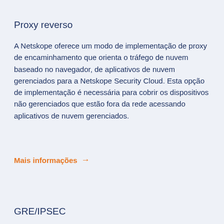Proxy reverso
A Netskope oferece um modo de implementação de proxy de encaminhamento que orienta o tráfego de nuvem baseado no navegador, de aplicativos de nuvem gerenciados para a Netskope Security Cloud. Esta opção de implementação é necessária para cobrir os dispositivos não gerenciados que estão fora da rede acessando aplicativos de nuvem gerenciados.
Mais informações →
GRE/IPSEC